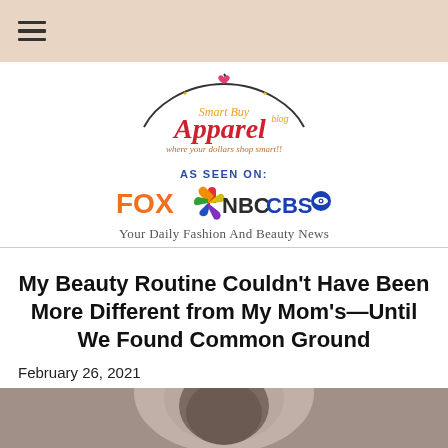[Figure (logo): Smart Buy Apparel blog logo - cursive red and gold text on white background with small heart icon]
AS SEEN ON:
[Figure (logo): Media network logos: FOX (orange), NBC (with colorful peacock), CBS (blue and white eye logo)]
Your Daily Fashion And Beauty News
My Beauty Routine Couldn’t Have Been More Different from My Mom’s—Until We Found Common Ground
February 26, 2021
[Figure (photo): Partial view of a person's face/hair at the bottom of the page]